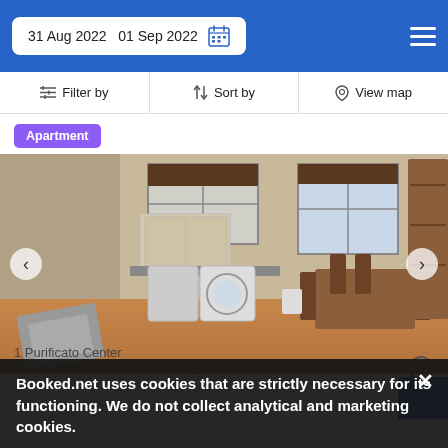31 Aug 2022  01 Sep 2022
Filter by  Sort by  View map
Apartment
[Figure (photo): Interior photo of an apartment showing a kitchen area with washing machine, cabinets, windows with blinds, and a dining table with wooden chairs, plus a shelving unit on the right.]
Booked.net uses cookies that are strictly necessary for its functioning. We do not collect analytical and marketing cookies.
1 Purificato Center
900 yd from Royal Hospital Donnybrook